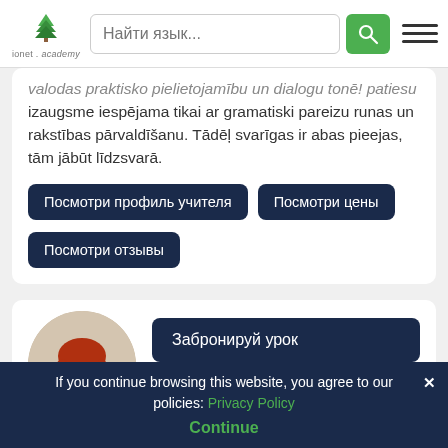[Figure (logo): Ionet Academy logo with green tree and text 'ionet . academy']
valodas praktisko pielietojamību un dialogu tonē! patiesu izaugsme iespējama tikai ar gramatiski pareizu runas un rakstības pārvaldīšanu. Tādēļ svarīgas ir abas pieejas, tām jābūt līdzsvarā.
Посмотри профиль учителя
Посмотри цены
Посмотри отзывы
[Figure (photo): Circular profile photo of a young woman with red hair wearing a black blazer]
Забронируй урок
[Figure (infographic): Five gold stars rating]
If you continue browsing this website, you agree to our policies: Privacy Policy
Continue